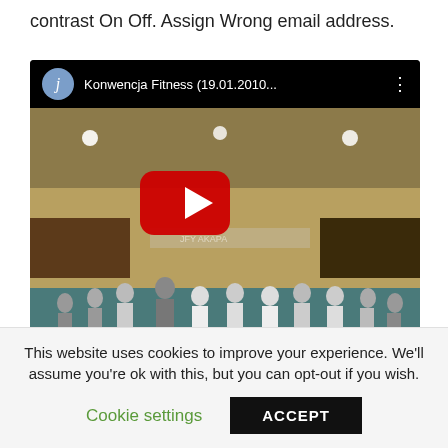contrast On Off. Assign Wrong email address.
[Figure (screenshot): YouTube video embed showing 'Konwencja Fitness (19.01.2010...' with a play button overlay, showing a group fitness class in a gymnasium.]
This website uses cookies to improve your experience. We'll assume you're ok with this, but you can opt-out if you wish.
Cookie settings   ACCEPT